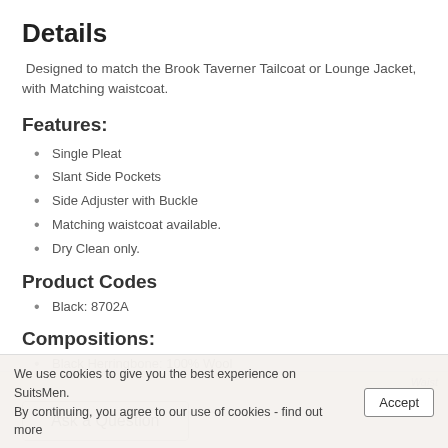Details
Designed to match the Brook Taverner Tailcoat or Lounge Jacket, with Matching waistcoat.
Features:
Single Pleat
Slant Side Pockets
Side Adjuster with Buckle
Matching waistcoat available.
Dry Clean only.
Product Codes
Black: 8702A
Compositions:
Black Herringbone: 100% Wool
Ask a Question
We use cookies to give you the best experience on SuitsMen. By continuing, you agree to our use of cookies - find out more